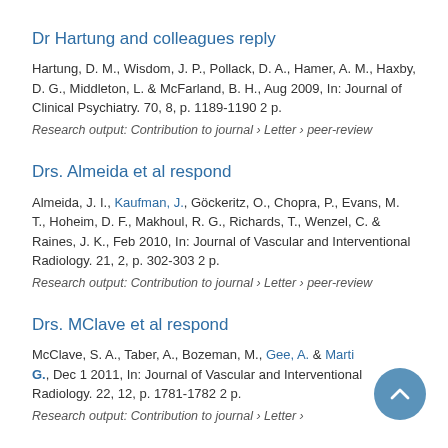Dr Hartung and colleagues reply
Hartung, D. M., Wisdom, J. P., Pollack, D. A., Hamer, A. M., Haxby, D. G., Middleton, L. & McFarland, B. H., Aug 2009, In: Journal of Clinical Psychiatry. 70, 8, p. 1189-1190 2 p.
Research output: Contribution to journal › Letter › peer-review
Drs. Almeida et al respond
Almeida, J. I., Kaufman, J., Göckeritz, O., Chopra, P., Evans, M. T., Hoheim, D. F., Makhoul, R. G., Richards, T., Wenzel, C. & Raines, J. K., Feb 2010, In: Journal of Vascular and Interventional Radiology. 21, 2, p. 302-303 2 p.
Research output: Contribution to journal › Letter › peer-review
Drs. MClave et al respond
McClave, S. A., Taber, A., Bozeman, M., Gee, A. & Marti G., Dec 1 2011, In: Journal of Vascular and Interventional Radiology. 22, 12, p. 1781-1782 2 p.
Research output: Contribution to journal › Letter...